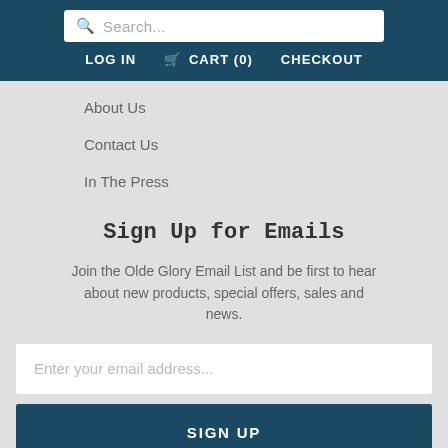Search...
LOG IN  CART (0)  CHECKOUT
About Us
Contact Us
In The Press
Sign Up for Emails
Join the Olde Glory Email List and be first to hear about new products, special offers, sales and news.
Enter your email address...
SIGN UP